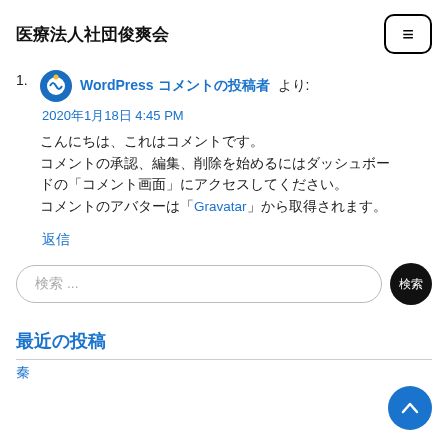医療法人社団俊爽会
WordPress コメントの投稿者 より:
2020年1月18日 4:45 PM
こんにちは、これはコメントです。
コメントの承認、編集、削除を始めるにはダッシュボードの「コメント画面」にアクセスしてください。
コメントのアバターは「Gravatar」から取得されます。
返信
検索 …
最近の投稿
秦